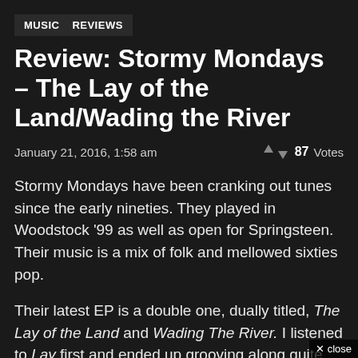MUSIC  REVIEWS
Review: Stormy Mondays – The Lay of the Land/Wading the River
January 21, 2016, 1:58 am  ↑↓ 87 Votes
Stormy Mondays have been cranking out tunes since the early nineties. They played in Woodstock '99 as well as open for Springsteen. Their music is a mix of folk and mellowed sixties pop.
Their latest EP is a double one, dually titled, The Lay of the Land and Wading The River. I listened to Lay first and ended up grooving along quite nicely. The starting track, "Talking in My Sleep" has dreamy guitar and addicting bell percussion. Rather than blowi…